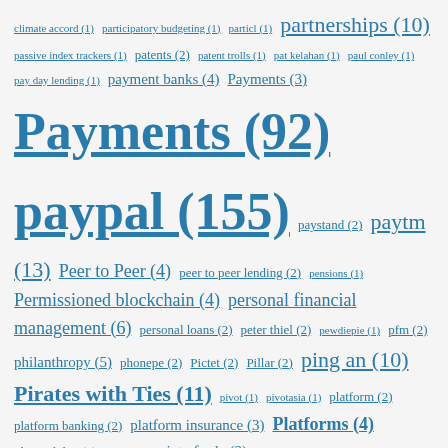climate accord (1) participatory budgeting (1) particl (1) partnerships (10) passive index trackers (1) patents (2) patent trolls (1) pat kelahan (1) paul conley (1) pay day lending (1) payment banks (4) Payments (3) Payments (92) paypal (155) paystand (2) paytm (13) Peer to Peer (4) peer to peer lending (2) pensions (1) Permissioned blockchain (4) personal financial management (6) personal loans (2) peter thiel (2) pewdiepie (1) pfm (2) philanthropy (5) phonepe (2) Pictet (2) Pillar (2) ping an (10) Pirates with Ties (11) pivot (1) pivotasia (1) platform (2) platform banking (2) platform insurance (3) Platforms (4) plugandplay (2) Point (1) point of sale (3) policies (1) policy (1) policy exclusion (1) policygenius (2) Polychain Capital (2) pooh corner debates (9) portfolio (3) portfolio construction (1) PostBanked (1) precious metals (1) prediction market (1) Predictions (6) Predictive Analytics (1) pricing (2) Prima (1) private equity (3) ProfitSee (2) programmable bank (11) progressive (1) proof of stake (7) proof of work (1) property &